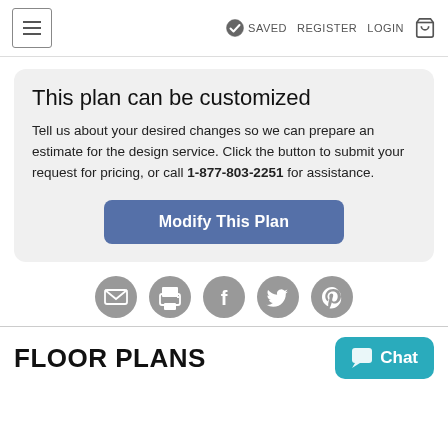≡  SAVED  REGISTER  LOGIN  🛒
This plan can be customized
Tell us about your desired changes so we can prepare an estimate for the design service. Click the button to submit your request for pricing, or call 1-877-803-2251 for assistance.
Modify This Plan
[Figure (infographic): Row of five circular social/sharing icons: email, print, Facebook, Twitter, Pinterest]
FLOOR PLANS
Chat